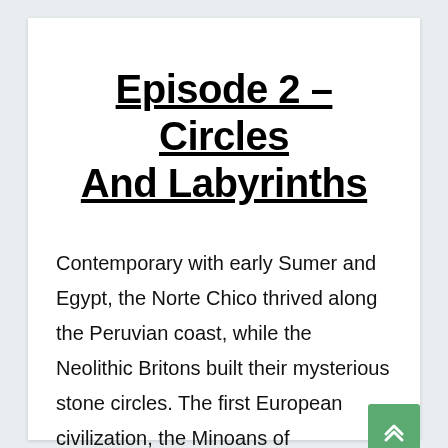Episode 2 – Circles And Labyrinths
Contemporary with early Sumer and Egypt, the Norte Chico thrived along the Peruvian coast, while the Neolithic Britons built their mysterious stone circles. The first European civilization, the Minoans of